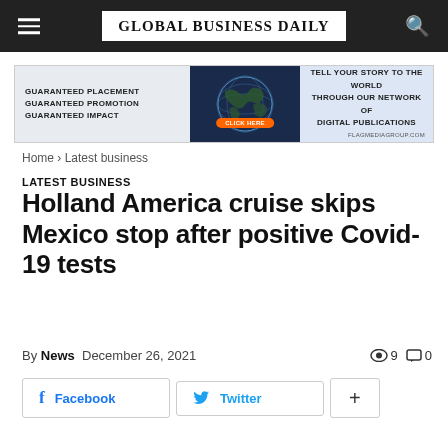GLOBAL BUSINESS DAILY
[Figure (infographic): Advertisement banner: Guaranteed Placement Guaranteed Promotion Guaranteed Impact | Globe image | Tell Your Story To The World Through Our Network Of Digital Publications | FlagMediaGroup.com]
Home › Latest business
LATEST BUSINESS
Holland America cruise skips Mexico stop after positive Covid-19 tests
By News  December 26, 2021  👁 9  💬 0
f Facebook  🐦 Twitter  +